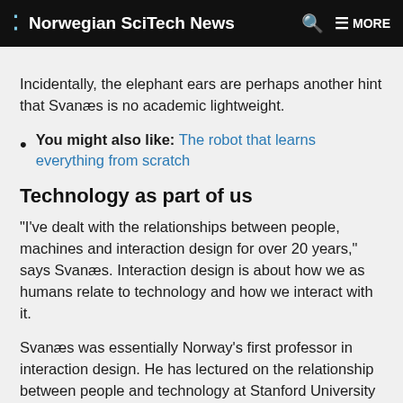Norwegian SciTech News
Incidentally, the elephant ears are perhaps another hint that Svanæs is no academic lightweight.
You might also like: The robot that learns everything from scratch
Technology as part of us
"I've dealt with the relationships between people, machines and interaction design for over 20 years," says Svanæs. Interaction design is about how we as humans relate to technology and how we interact with it.
Svanæs was essentially Norway's first professor in interaction design. He has lectured on the relationship between people and technology at Stanford University